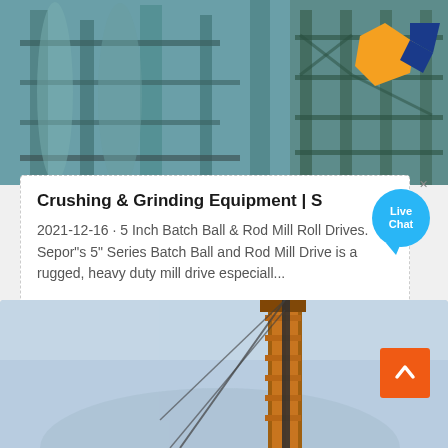[Figure (photo): Industrial plant/factory with steel structures, pipes, scaffolding, and a company logo (orange and blue chevron/arrow shape with letters AM) visible in the upper right corner]
Crushing & Grinding Equipment | S...
2021-12-16 · 5 Inch Batch Ball & Rod Mill Roll Drives. Sepor"s 5" Series Batch Ball and Rod Mill Drive is a rugged, heavy duty mill drive especiall...
[Figure (photo): Bottom portion of page showing a large orange drilling rig or crane against a light blue sky background]